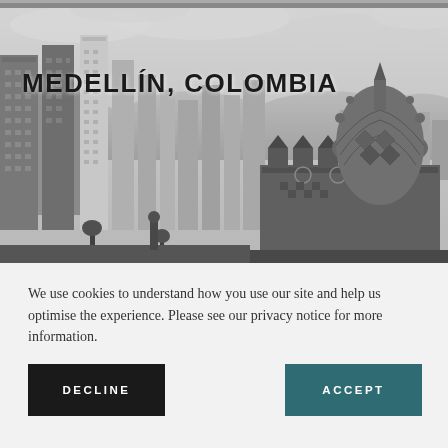[Figure (photo): Black and white aerial/elevated photograph of Medellín, Colombia cityscape showing high-rise buildings, a historic ornate market building with a distinctive domed roof in the foreground, and mountains in the background under a cloudy sky.]
MEDELLÍN, COLOMBIA
We use cookies to understand how you use our site and help us optimise the experience. Please see our privacy notice for more information.